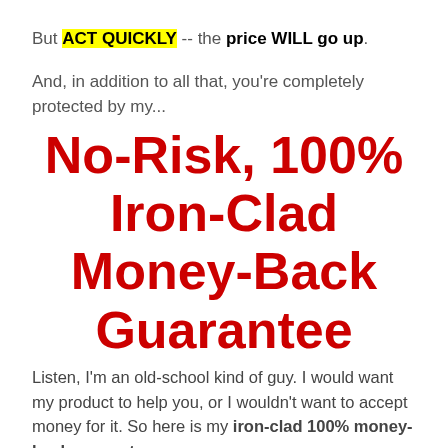But ACT QUICKLY -- the price WILL go up.
And, in addition to all that, you're completely protected by my...
No-Risk, 100% Iron-Clad Money-Back Guarantee
Listen, I'm an old-school kind of guy. I would want my product to help you, or I wouldn't want to accept money for it. So here is my iron-clad 100% money-back guarantee…